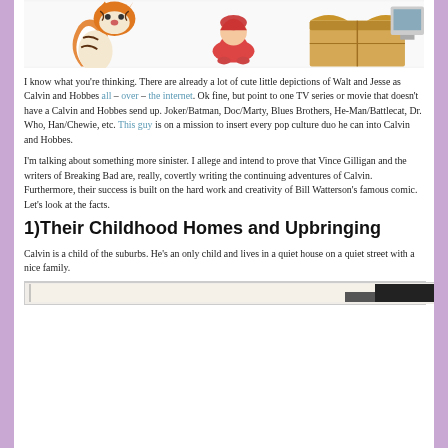[Figure (illustration): Cartoon illustration showing a tiger (Hobbes), a crouching child in red (Calvin), and a cardboard box, depicted in the style of Calvin and Hobbes comic.]
I know what you're thinking. There are already a lot of cute little depictions of Walt and Jesse as Calvin and Hobbes all – over – the internet. Ok fine, but point to one TV series or movie that doesn't have a Calvin and Hobbes send up. Joker/Batman, Doc/Marty, Blues Brothers, He-Man/Battlecat, Dr. Who, Han/Chewie, etc. This guy is on a mission to insert every pop culture duo he can into Calvin and Hobbes.
I'm talking about something more sinister. I allege and intend to prove that Vince Gilligan and the writers of Breaking Bad are, really, covertly writing the continuing adventures of Calvin. Furthermore, their success is built on the hard work and creativity of Bill Watterson's famous comic. Let's look at the facts.
1)Their Childhood Homes and Upbringing
Calvin is a child of the suburbs. He's an only child and lives in a quiet house on a quiet street with a nice family.
[Figure (illustration): Bottom portion of a comic strip or image, partially visible at the bottom of the page.]